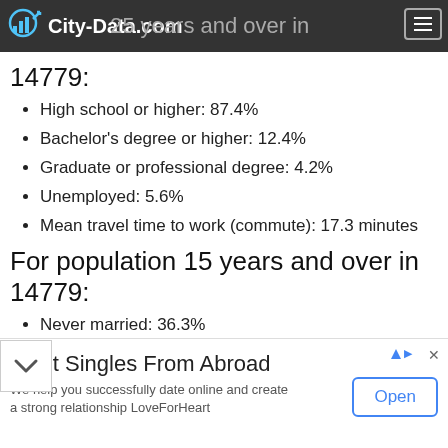City-Data.com — For population 25 years and over in 14779:
High school or higher: 87.4%
Bachelor's degree or higher: 12.4%
Graduate or professional degree: 4.2%
Unemployed: 5.6%
Mean travel time to work (commute): 17.3 minutes
For population 15 years and over in 14779:
Never married: 36.3%
Now married: 38.6%
Separated: 2.8%
[Figure (other): Advertisement banner: Meet Singles From Abroad — LoveForHeart dating site ad with Open button]